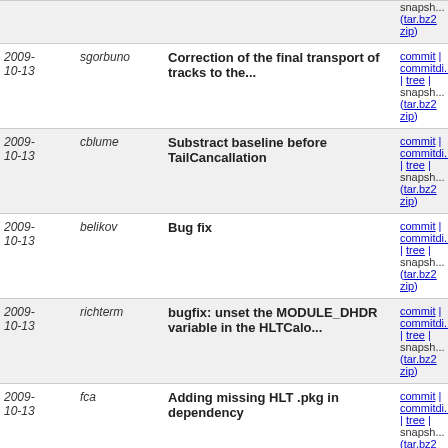| Date | Author | Message | Links |
| --- | --- | --- | --- |
| 2009-10-13 | sgorbuno | Correction of the final transport of tracks to the... | commit | commitdiff | tree | snapshot (tar.bz2 zip) |
| 2009-10-13 | cblume | Substract baseline before TailCancallation | commit | commitdiff | tree | snapshot (tar.bz2 zip) |
| 2009-10-13 | belikov | Bug fix | commit | commitdiff | tree | snapshot (tar.bz2 zip) |
| 2009-10-13 | richterm | bugfix: unset the MODULE_DHDR variable in the HLTCalo... | commit | commitdiff | tree | snapshot (tar.bz2 zip) |
| 2009-10-13 | fca | Adding missing HLT .pkg in dependency | commit | commitdiff | tree | snapshot (tar.bz2 zip) |
| 2009-10-13 | jklay | macro for plotting MC rates for PPR | commit | commitdiff | tree | snapshot (tar.bz2 zip) |
| 2009-10-13 | zampolli | Adding functionality to retrieve logbook_trigger_config... | commit | commitdiff | tree | snapshot (tar.bz2 zip) |